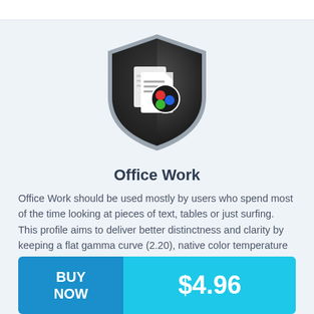[Figure (logo): Shield icon with document/color profile graphic inside — dark shield shape with white document icon and colored dots (red, green, blue)]
Office Work
Office Work should be used mostly by users who spend most of the time looking at pieces of text, tables or just surfing. This profile aims to deliver better distinctness and clarity by keeping a flat gamma curve (2.20), native color temperature and perceptually accurate colors.
BUY NOW  $4.96